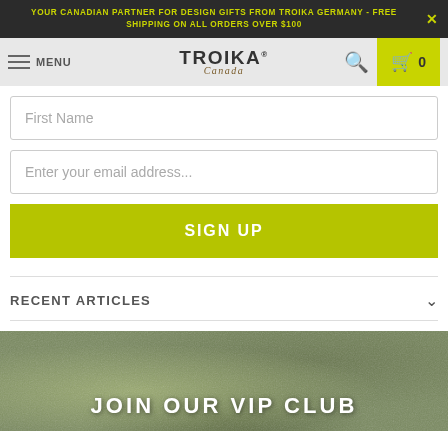YOUR CANADIAN PARTNER FOR DESIGN GIFTS FROM TROIKA GERMANY - FREE SHIPPING ON ALL ORDERS OVER $100
[Figure (logo): TROIKA Canada logo in navigation bar]
First Name
Enter your email address...
SIGN UP
RECENT ARTICLES
JOIN OUR VIP CLUB